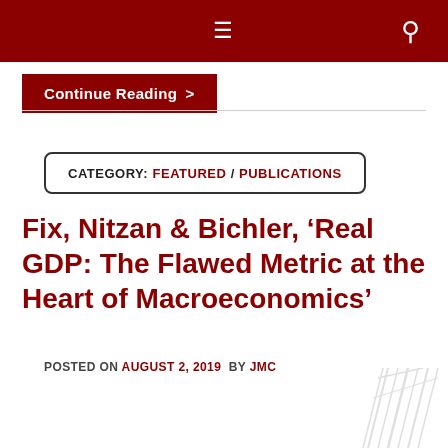≡  🔍
Continue Reading >
CATEGORY: FEATURED / PUBLICATIONS
Fix, Nitzan & Bichler, ‘Real GDP: The Flawed Metric at the Heart of Macroeconomics’
POSTED ON AUGUST 2, 2019 BY JMC